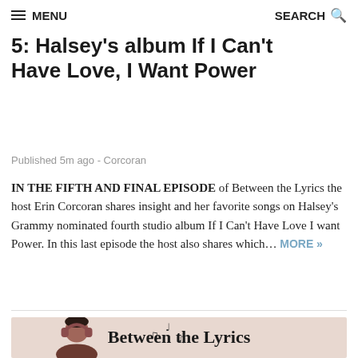MENU | SEARCH
Between the Lyrics Episode 5: Halsey's album If I Can't Have Love, I Want Power
Published 5m ago - Corcoran
IN THE FIFTH AND FINAL EPISODE of Between the Lyrics the host Erin Corcoran shares insight and her favorite songs on Halsey's Grammy nominated fourth studio album If I Can't Have Love I want Power. In this last episode the host also shares which... MORE »
[Figure (illustration): Podcast artwork showing 'Between the Lyrics' title on a pink/beige background with a cartoon person wearing headphones and musical notes]